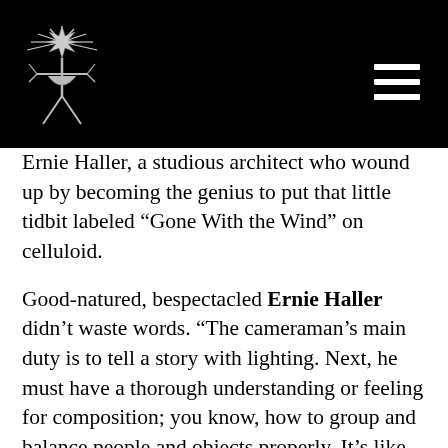[Logo and navigation menu]
Ernie Haller, a studious architect who wound up by becoming the genius to put that little tidbit labeled “Gone With the Wind” on celluloid.
Good-natured, bespectacled Ernie Haller didn’t waste words. “The cameraman’s main duty is to tell a story with lighting. Next, he must have a thorough understanding or feeling for composition; you know, how to group and balance people and objects properly. It’s like salesmanship – you create a point of interest, and you try to sell the fans a